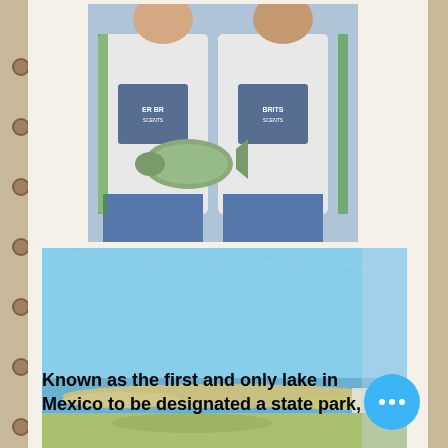[Figure (photo): Two men in fishing jerseys labeled 'BRITS' and 'SCENTS' holding a large bass fish, standing side by side]
[Figure (photo): Landscape photo of a lake or coastal area with blue sky, water, and flat sandy terrain]
Known as the first and only lake in Mexico to be designated a state park,